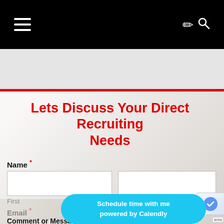Navigation bar with hamburger menu and search icon
Lets Discuss Your Direct Recruiting Needs
Name *
First
Last
Email *
Comment or Message *
[Figure (screenshot): Calendly scheduling button with text 'Schedule time with me powered by Calendly']